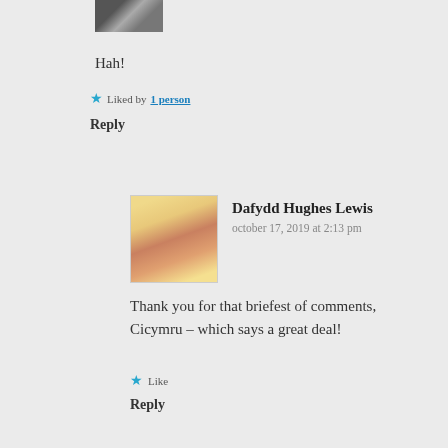[Figure (photo): Partial avatar image at top of page]
Hah!
Liked by 1 person
Reply
[Figure (photo): Avatar photo of Dafydd Hughes Lewis — stylized portrait illustration]
Dafydd Hughes Lewis
october 17, 2019 at 2:13 pm
Thank you for that briefest of comments, Cicymru – which says a great deal!
Like
Reply